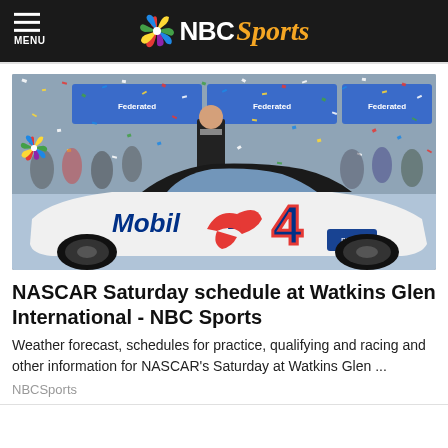MENU — NBC Sports
[Figure (photo): NASCAR victory lane celebration with confetti and the #4 Mobil 1 / Busch Light Ford car in foreground, driver standing on car at podium with crowd and sponsors in background]
NASCAR Saturday schedule at Watkins Glen International - NBC Sports
Weather forecast, schedules for practice, qualifying and racing and other information for NASCAR's Saturday at Watkins Glen ...
NBCSports